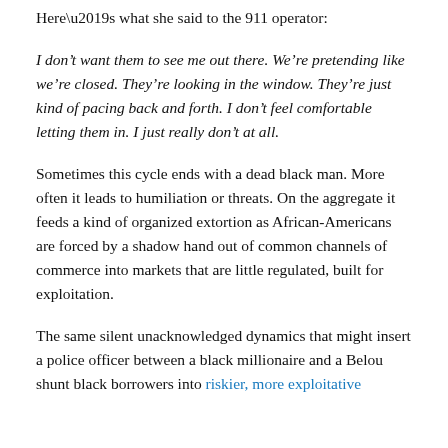Here’s what she said to the 911 operator:
I don’t want them to see me out there. We’re pretending like we’re closed. They’re looking in the window. They’re just kind of pacing back and forth. I don’t feel comfortable letting them in. I just really don’t at all.
Sometimes this cycle ends with a dead black man. More often it leads to humiliation or threats. On the aggregate it feeds a kind of organized extortion as African-Americans are forced by a shadow hand out of common channels of commerce into markets that are little regulated, built for exploitation.
The same silent unacknowledged dynamics that might insert a police officer between a black millionaire and a Belou shunt black borrowers into riskier, more exploitative